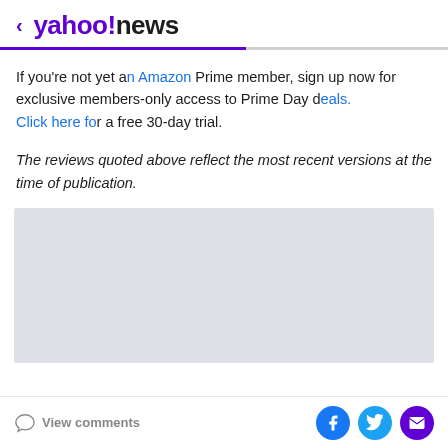< yahoo!news
If you're not yet an Amazon Prime member, sign up now for exclusive members-only access to Prime Day deals. Click here for a free 30-day trial.
The reviews quoted above reflect the most recent versions at the time of publication.
[Figure (other): Gray advertisement placeholder box]
View comments | Facebook share | Twitter share | Email share